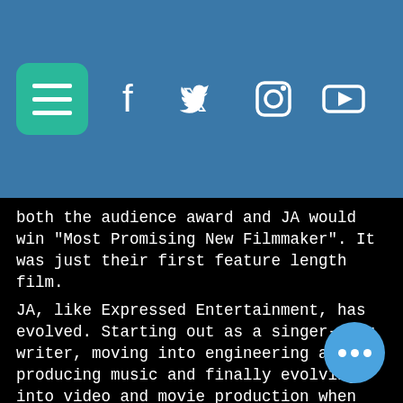[Figure (screenshot): Navigation bar with hamburger menu button (teal/green rounded square) and social media icons (Facebook, Twitter, Instagram, YouTube) on a steel blue background]
called
able
ral
ards
al
n
both the audience award and JA would win "Most Promising New Filmmaker".  It was just their first feature length film.
JA, like Expressed Entertainment, has evolved.  Starting out as a singer-song writer, moving into engineering and producing music and finally evolving into video and movie production when she partnered with her then friend, now husband Marvin R. Askew.
A Lupus Warrior and Kidney Transplant Recipient, she has fought for years to pursue her vision despite end stage renal dialysis and being on dialysis for